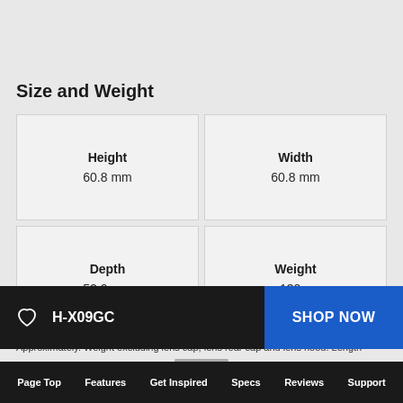Size and Weight
| Attribute | Value |
| --- | --- |
| Height | 60.8 mm |
| Width | 60.8 mm |
| Depth | 52.0 mm |
| Weight | 130 g |
Approximately. Weight excluding lens cap, lens rear cap and lens hood. Length
H-X09GC
SHOP NOW
Page Top  Features  Get Inspired  Specs  Reviews  Support